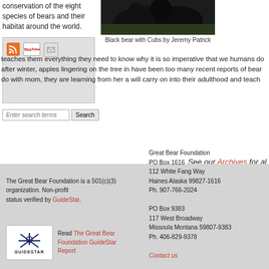conservation of the eight species of bears and their habitat around the world.
[Figure (screenshot): Social media icons: RSS feed (orange), YouTube, and email/envelope icons in a light gray box]
[Figure (photo): Black bear with Cubs]
Black bear with Cubs by Jeremy Patrick
teaches them everything they need to know why it is so imperative that we humans do after winter, apples lingering on the tree in have been too many recent reports of bear do with mom, they are learning from her a will carry on into their adulthood and teach
See our Archives for al
The Great Bear Foundation is a 501(c)(3) organization. Non-profit status verified by GuideStar.
[Figure (logo): GuideStar logo with star emblem]
Read The Great Bear Foundation GuideStar Report
Great Bear Foundation
PO Box 1616
112 White Fang Way
Haines Alaska 99827-1616
Ph. 907-766-2024

PO Box 9383
117 West Broadway
Missoula Montana 59807-9383
Ph. 406-829-9378

Contact us